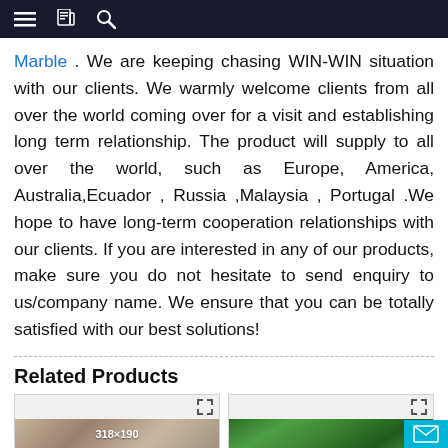≡  📋  🔍
Marble . We are keeping chasing WIN-WIN situation with our clients. We warmly welcome clients from all over the world coming over for a visit and establishing long term relationship. The product will supply to all over the world, such as Europe, America, Australia,Ecuador , Russia ,Malaysia , Portugal .We hope to have long-term cooperation relationships with our clients. If you are interested in any of our products, make sure you do not hesitate to send enquiry to us/company name. We ensure that you can be totally satisfied with our best solutions!
Related Products
[Figure (photo): Marble slab product photo showing white/beige textured marble with dark veining, thumbnail image 318x190]
[Figure (photo): Green marble slab product photo showing vivid emerald green stone with dark veining, displayed in showroom setting]